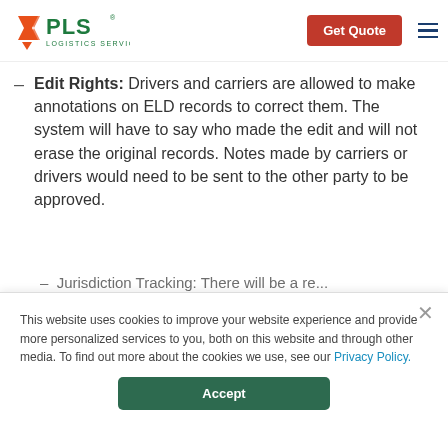[Figure (logo): PLS Logistics Services logo with orange arrow/chevron icon and green PLS text]
Edit Rights: Drivers and carriers are allowed to make annotations on ELD records to correct them. The system will have to say who made the edit and will not erase the original records. Notes made by carriers or drivers would need to be sent to the other party to be approved.
This website uses cookies to improve your website experience and provide more personalized services to you, both on this website and through other media. To find out more about the cookies we use, see our Privacy Policy.